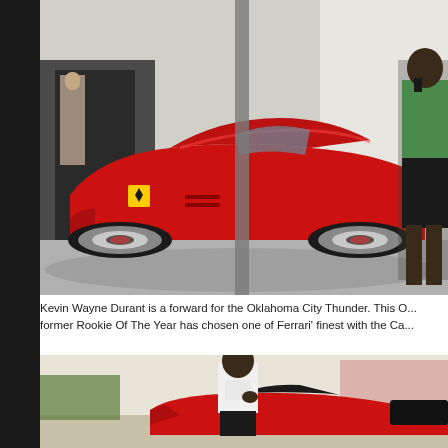[Figure (photo): A tall man in a green shirt and black shorts standing next to a red Ferrari sports car in a parking area. Another person visible in the background near a building entrance.]
Kevin Wayne Durant is a forward for the Oklahoma City Thunder. This O... former Rookie Of The Year has chosen one of Ferrari' finest with the Ca...
[Figure (photo): A man in a white t-shirt standing in front of a red and black Ferrari sports car in an outdoor parking lot setting.]